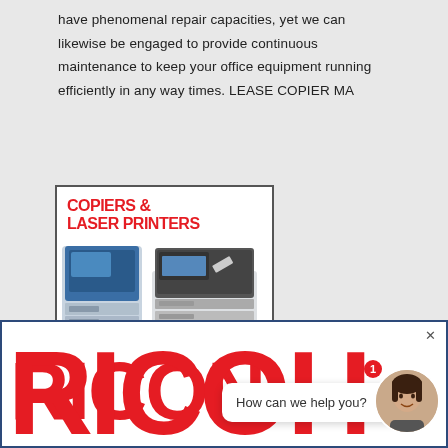have phenomenal repair capacities, yet we can likewise be engaged to provide continuous maintenance to keep your office equipment running efficiently in any way times. LEASE COPIER MA
[Figure (photo): Advertisement image showing two office copiers/laser printers (a large blue/white multifunction copier and a smaller black laser printer) with bold red text reading COPIERS & LASER PRINTERS, inside a bordered box]
[Figure (logo): Ricoh brand banner in large bold red letters spelling RICOH partially visible, with a chat bubble overlay saying 'How can we help you?' and a circular avatar of a woman, plus a red notification badge showing 1, all inside a dark blue bordered rectangle]